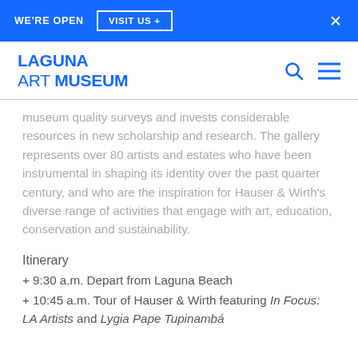WE'RE OPEN   VISIT US +   ×
[Figure (logo): Laguna Art Museum logo in blue with search and menu icons]
museum quality surveys and invests considerable resources in new scholarship and research. The gallery represents over 80 artists and estates who have been instrumental in shaping its identity over the past quarter century, and who are the inspiration for Hauser & Wirth's diverse range of activities that engage with art, education, conservation and sustainability.
Itinerary
+ 9:30 a.m. Depart from Laguna Beach
+ 10:45 a.m. Tour of Hauser & Wirth featuring In Focus: LA Artists and Lygia Pape Tupinambá